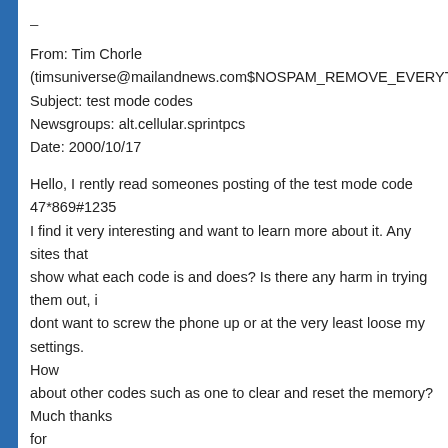–
From: Tim Chorle
(timsuniverse@mailandnews.com$NOSPAM_REMOVE_EVERYTHING_A
Subject: test mode codes
Newsgroups: alt.cellular.sprintpcs
Date: 2000/10/17
Hello, I rently read someones posting of the test mode code 47*869#1235
I find it very interesting and want to learn more about it. Any sites that
show what each code is and does? Is there any harm in trying them out, i
dont want to screw the phone up or at the very least loose my settings.
How
about other codes such as one to clear and reset the memory?
Much thanks
for